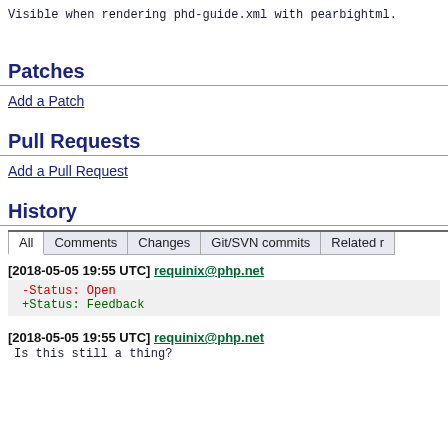Visible when rendering phd-guide.xml with pearbightml.
Patches
Add a Patch
Pull Requests
Add a Pull Request
History
All | Comments | Changes | Git/SVN commits | Related r
[2018-05-05 19:55 UTC] requinix@php.net
-Status: Open
+Status: Feedback
[2018-05-05 19:55 UTC] requinix@php.net
Is this still a thing?